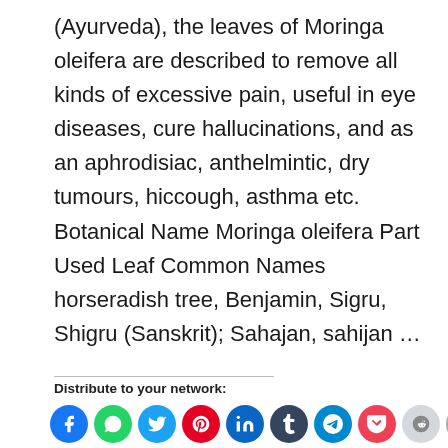(Ayurveda), the leaves of Moringa oleifera are described to remove all kinds of excessive pain, useful in eye diseases, cure hallucinations, and as an aphrodisiac, anthelmintic, dry tumours, hiccough, asthma etc. Botanical Name Moringa oleifera Part Used Leaf Common Names horseradish tree, Benjamin, Sigru, Shigru (Sanskrit); Sahajan, sahijan …
CONTINUE READING
Distribute to your network:
[Figure (other): Row of social media share buttons: Facebook (blue), WhatsApp (green), Twitter (light blue), Pinterest (red), LinkedIn (dark blue), Tumblr (dark teal), Telegram (blue), Pocket (red), Reddit (light grey), Email (grey), Print (grey partial)]